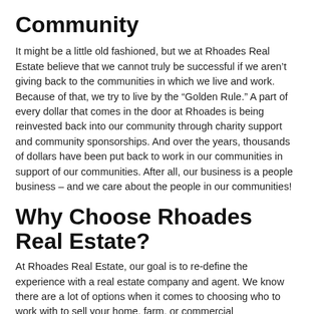Community
It might be a little old fashioned, but we at Rhoades Real Estate believe that we cannot truly be successful if we aren't giving back to the communities in which we live and work. Because of that, we try to live by the “Golden Rule.” A part of every dollar that comes in the door at Rhoades is being reinvested back into our community through charity support and community sponsorships. And over the years, thousands of dollars have been put back to work in our communities in support of our communities. After all, our business is a people business – and we care about the people in our communities!
Why Choose Rhoades Real Estate?
At Rhoades Real Estate, our goal is to re-define the experience with a real estate company and agent. We know there are a lot of options when it comes to choosing who to work with to sell your home, farm, or commercial